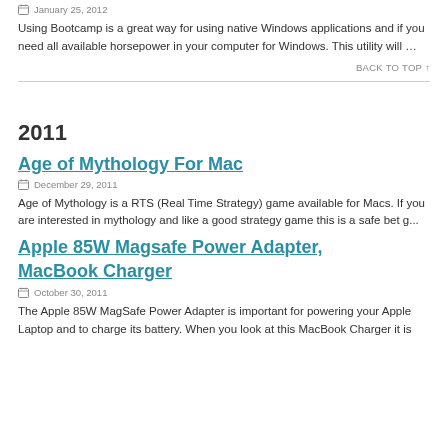January 25, 2012
Using Bootcamp is a great way for using native Windows applications and if you need all available horsepower in your computer for Windows. This utility will ...
BACK TO TOP ↑
2011
Age of Mythology For Mac
December 29, 2011
Age of Mythology is a RTS (Real Time Strategy) game available for Macs. If you are interested in mythology and like a good strategy game this is a safe bet g...
Apple 85W Magsafe Power Adapter, MacBook Charger
October 30, 2011
The Apple 85W MagSafe Power Adapter is important for powering your Apple Laptop and to charge its battery. When you look at this MacBook Charger it is